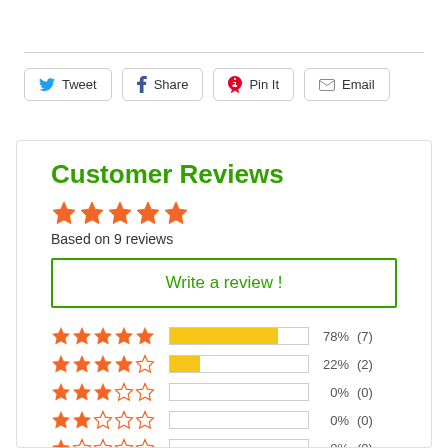[Figure (other): Social sharing buttons: Tweet (Twitter), Share (Facebook), Pin It (Pinterest), Email]
Customer Reviews
★★★★★ Based on 9 reviews
Write a review !
| Stars | Bar | Percent | Count |
| --- | --- | --- | --- |
| ★★★★★ | 78% | 78% | (7) |
| ★★★★☆ | 22% | 22% | (2) |
| ★★★☆☆ | 0% | 0% | (0) |
| ★★☆☆☆ | 0% | 0% | (0) |
| ★☆☆☆☆ | 0% | 0% | (0) |